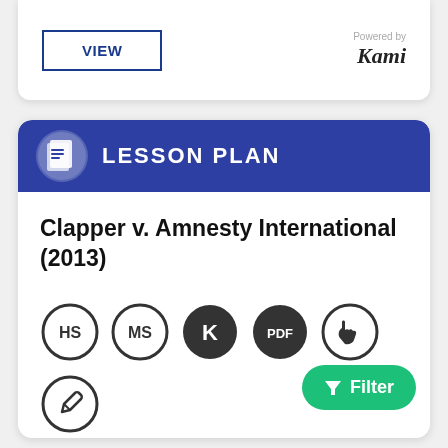[Figure (screenshot): Top card with VIEW button and Powered by Kami branding]
[Figure (screenshot): Lesson Plan card with icon, title 'Clapper v. Amnesty International (2013)', badges HS, MS, K, PDF, and icons, plus Filter button]